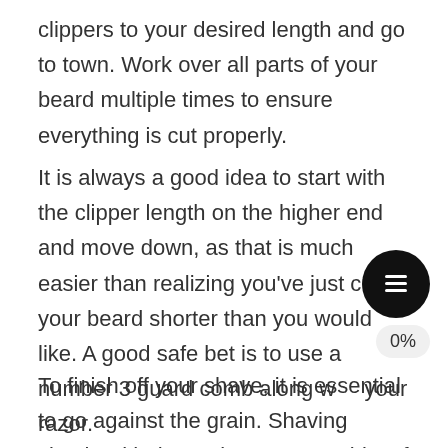clippers to your desired length and go to town. Work over all parts of your beard multiple times to ensure everything is cut properly.
It is always a good idea to start with the clipper length on the higher end and move down, as that is much easier than realizing you've just cut your beard shorter than you would like. A good safe bet is to use a number 3 guard comb along with your razor.
To finish off your shave, it is essential to go against the grain. Shaving simply with the grain can cause bits of hair to only be pushed down